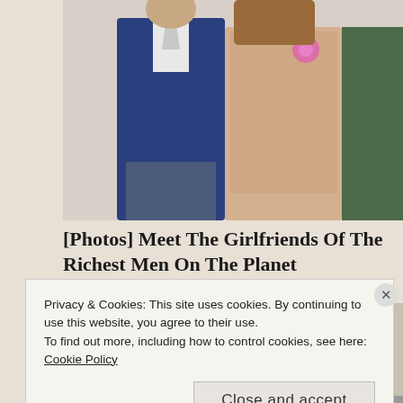[Figure (photo): A man in a navy blue suit and a woman in a beige lace dress with a pink flower accessory, seated together]
[Photos] Meet The Girlfriends Of The Richest Men On The Planet
Bon Voyaged
[Figure (photo): A person wearing a large dark navy cowboy hat, with blonde hair visible underneath]
Privacy & Cookies: This site uses cookies. By continuing to use this website, you agree to their use.
To find out more, including how to control cookies, see here:
Cookie Policy
Close and accept